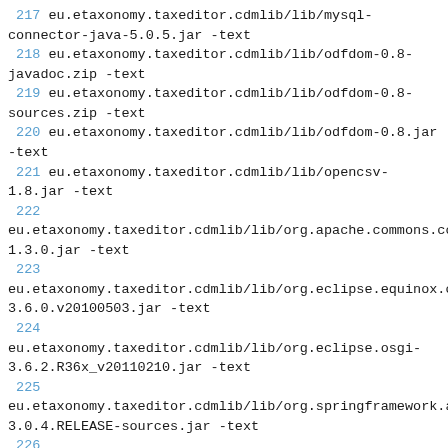217 eu.etaxonomy.taxeditor.cdmlib/lib/mysql-connector-java-5.0.5.jar -text
218 eu.etaxonomy.taxeditor.cdmlib/lib/odfdom-0.8-javadoc.zip -text
219 eu.etaxonomy.taxeditor.cdmlib/lib/odfdom-0.8-sources.zip -text
220 eu.etaxonomy.taxeditor.cdmlib/lib/odfdom-0.8.jar -text
221 eu.etaxonomy.taxeditor.cdmlib/lib/opencsv-1.8.jar -text
222 eu.etaxonomy.taxeditor.cdmlib/lib/org.apache.commons.codec-1.3.0.jar -text
223 eu.etaxonomy.taxeditor.cdmlib/lib/org.eclipse.equinox.common_3.6.0.v20100503.jar -text
224 eu.etaxonomy.taxeditor.cdmlib/lib/org.eclipse.osgi-3.6.2.R36x_v20110210.jar -text
225 eu.etaxonomy.taxeditor.cdmlib/lib/org.springframework.aop-3.0.4.RELEASE-sources.jar -text
226 eu.etaxonomy.taxeditor.cdmlib/lib/org.springframework.aop-3.0.4.RELEASE.jar -text